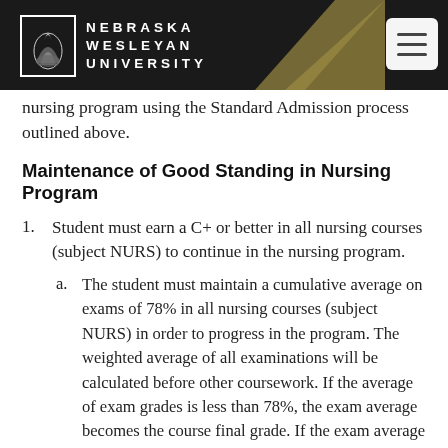Nebraska Wesleyan University
nursing program using the Standard Admission process outlined above.
Maintenance of Good Standing in Nursing Program
Student must earn a C+ or better in all nursing courses (subject NURS) to continue in the nursing program.
The student must maintain a cumulative average on exams of 78% in all nursing courses (subject NURS) in order to progress in the program. The weighted average of all examinations will be calculated before other coursework. If the average of exam grades is less than 78%, the exam average becomes the course final grade. If the exam average is greater than or equal to 78%, then other coursework scores will be added and